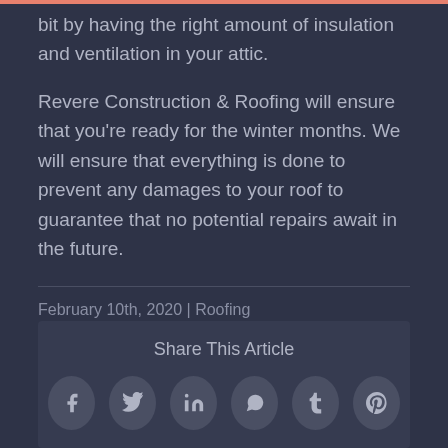bit by having the right amount of insulation and ventilation in your attic.
Revere Construction & Roofing will ensure that you're ready for the winter months. We will ensure that everything is done to prevent any damages to your roof to guarantee that no potential repairs await in the future.
February 10th, 2020 | Roofing
Share This Article